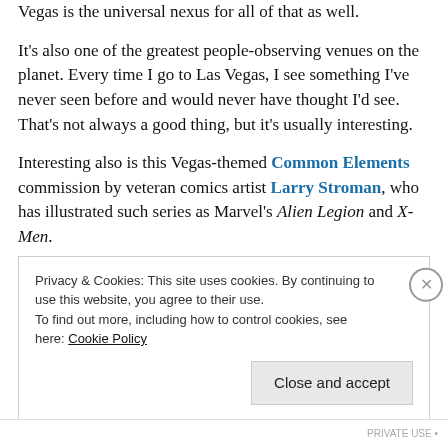Vegas is the universal nexus for all of that as well.
It's also one of the greatest people-observing venues on the planet. Every time I go to Las Vegas, I see something I've never seen before and would never have thought I'd see. That's not always a good thing, but it's usually interesting.
Interesting also is this Vegas-themed Common Elements commission by veteran comics artist Larry Stroman, who has illustrated such series as Marvel's Alien Legion and X-Men.
Privacy & Cookies: This site uses cookies. By continuing to use this website, you agree to their use.
To find out more, including how to control cookies, see here: Cookie Policy